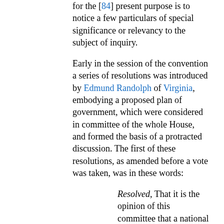for the [84] present purpose is to notice a few particulars of special significance or relevancy to the subject of inquiry.
Early in the session of the convention a series of resolutions was introduced by Edmund Randolph of Virginia, embodying a proposed plan of government, which were considered in committee of the whole House, and formed the basis of a protracted discussion. The first of these resolutions, as amended before a vote was taken, was in these words:
Resolved, That it is the opinion of this committee that a national Government